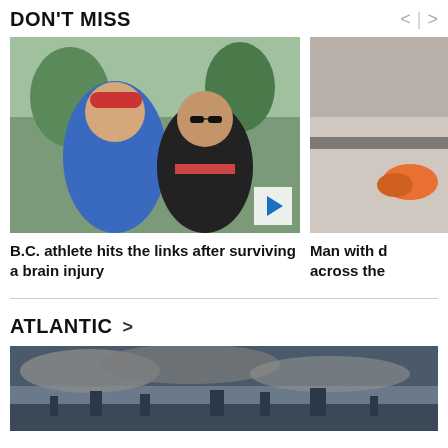DON'T MISS
[Figure (photo): Two men smiling outdoors, one wearing a red cap and blue shirt, the other in a black and red polo shirt with sunglasses]
B.C. athlete hits the links after surviving a brain injury
[Figure (photo): Partial image of an object with orange element visible, cropped on right side]
Man with d across the
ATLANTIC >
[Figure (photo): Cloudy dark sky over a cityscape or landscape, dramatic atmospheric scene]